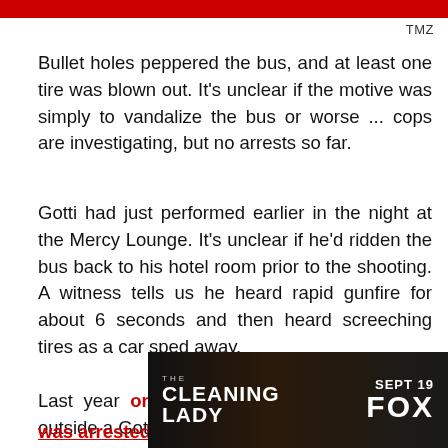TMZ
Bullet holes peppered the bus, and at least one tire was blown out. It's unclear if the motive was simply to vandalize the bus or worse ... cops are investigating, but no arrests so far.
Gotti had just performed earlier in the night at the Mercy Lounge. It's unclear if he'd ridden the bus back to his hotel room prior to the shooting. A witness tells us he heard rapid gunfire for about 6 seconds and then heard screeching tires as a car sped away.
Last year one person was shot and killed outside a Gotti g... friends was arrested for allegedly shooting Young Dolph
[Figure (other): Advertisement banner for The Cleaning Lady on FOX, Sept 19]